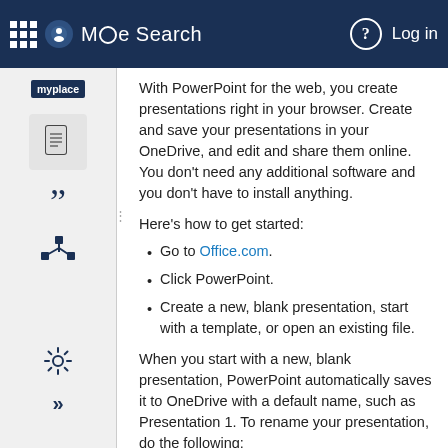MO|e Search  Log in
With PowerPoint for the web, you create presentations right in your browser. Create and save your presentations in your OneDrive, and edit and share them online. You don't need any additional software and you don't have to install anything.
Here's how to get started:
Go to Office.com.
Click PowerPoint.
Create a new, blank presentation, start with a template, or open an existing file.
When you start with a new, blank presentation, PowerPoint automatically saves it to OneDrive with a default name, such as Presentation 1. To rename your presentation, do the following:
On the File menu, select Rename.
Select Rename.
In the File Name field, enter the name